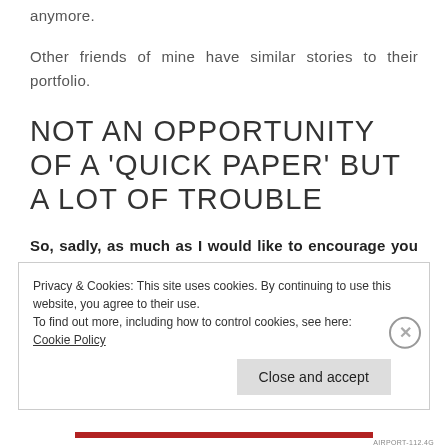anymore.
Other friends of mine have similar stories to their portfolio.
NOT AN OPPORTUNITY OF A 'QUICK PAPER' BUT A LOT OF TROUBLE
So, sadly, as much as I would like to encourage you to try those “student journals”, I really have
Privacy & Cookies: This site uses cookies. By continuing to use this website, you agree to their use.
To find out more, including how to control cookies, see here: Cookie Policy
AIRPORT-112.4G